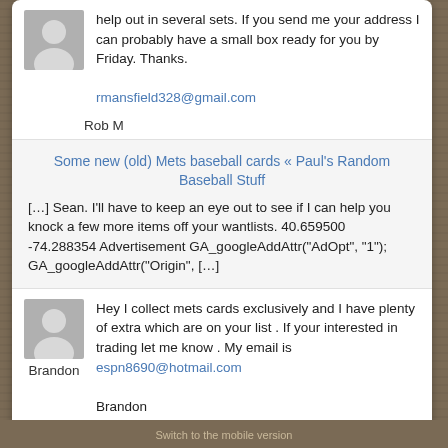[Figure (illustration): Gray placeholder avatar silhouette for Rob M]
help out in several sets. If you send me your address I can probably have a small box ready for you by Friday. Thanks.
rmansfield328@gmail.com
Rob M
Some new (old) Mets baseball cards « Paul's Random Baseball Stuff
[…] Sean. I'll have to keep an eye out to see if I can help you knock a few more items off your wantlists. 40.659500 -74.288354 Advertisement GA_googleAddAttr("AdOpt", "1"); GA_googleAddAttr("Origin", […]
[Figure (illustration): Gray placeholder avatar silhouette for Brandon]
Hey I collect mets cards exclusively and I have plenty of extra which are on your list . If your interested in trading let me know . My email is espn8690@hotmail.com
Brandon
Switch to the mobile version